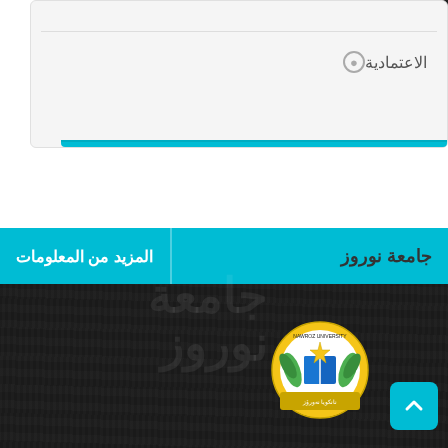الاعتمادية
جامعة نوروز
المزيد من المعلومات
[Figure (logo): Nawroz University circular logo with book and laurel design, with Arabic text نانكويا نەورۆز]
جامعة نوروز (watermark)